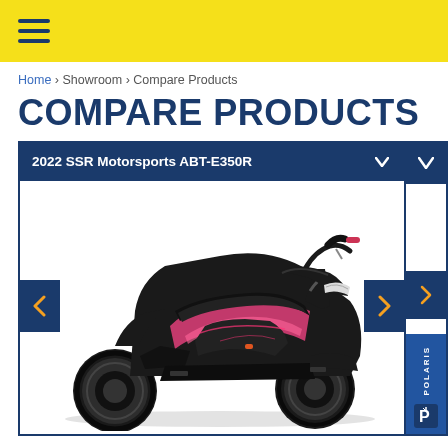Navigation menu (hamburger icon)
Home › Showroom › Compare Products
COMPARE PRODUCTS
[Figure (screenshot): Product comparison page showing a 2022 SSR Motorsports ABT-E350R electric ATV (four-wheeler) in black and pink, with navigation arrows and a partially visible second product card on the right showing a Polaris logo.]